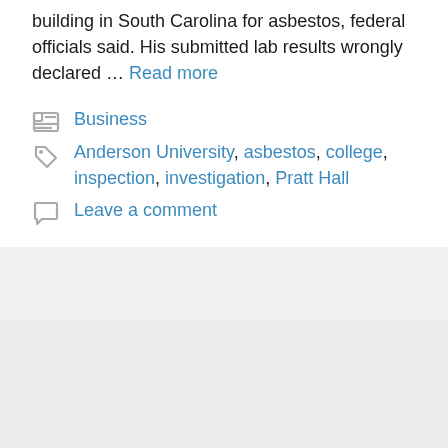building in South Carolina for asbestos, federal officials said. His submitted lab results wrongly declared … Read more
Business
Anderson University, asbestos, college, inspection, investigation, Pratt Hall
Leave a comment